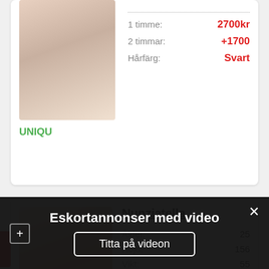[Figure (photo): Partial view of top profile card with photo and name UNIQU]
UNIQU
1 timme: 2700kr
2 timmar: +1700
Hårfärg: Svart
[Figure (photo): Profile photo of Nunziatella, woman with curly hair]
Nunziatella
Ålder: 25
Höjd: 156
Vikt: 55
Bröststorlek: D
1 timme: 2200kr
+ Timmar: Nej
Eskortannonser med video
Titta på videon